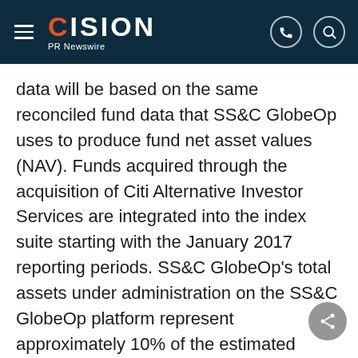CISION PR Newswire
data will be based on the same reconciled fund data that SS&C GlobeOp uses to produce fund net asset values (NAV). Funds acquired through the acquisition of Citi Alternative Investor Services are integrated into the index suite starting with the January 2017 reporting periods. SS&C GlobeOp's total assets under administration on the SS&C GlobeOp platform represent approximately 10% of the estimated assets currently invested in the hedge fund sector. The investment strategies of the funds in the indices span a representative industry sample. Data for middle and back office clients who are not fund administration clients is not included in the Index, but is included the...